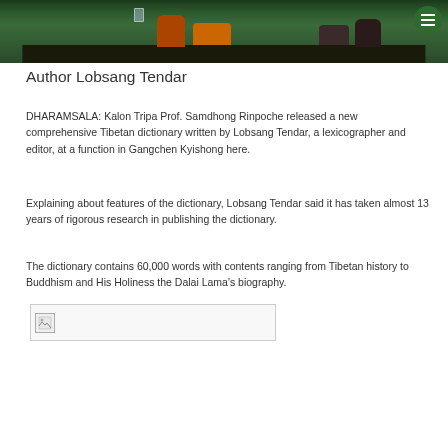[Figure (photo): Photo of people seated at a table during a function, with green curtains in the background. One person is wearing orange robes.]
Author Lobsang Tendar
DHARAMSALA: Kalon Tripa Prof. Samdhong Rinpoche released a new comprehensive Tibetan dictionary written by Lobsang Tendar, a lexicographer and editor, at a function in Gangchen Kyishong here.
Explaining about features of the dictionary, Lobsang Tendar said it has taken almost 13 years of rigorous research in publishing the dictionary.
The dictionary contains 60,000 words with contents ranging from Tibetan history to Buddhism and His Holiness the Dalai Lama's biography.
[Figure (photo): Broken image placeholder (image failed to load)]